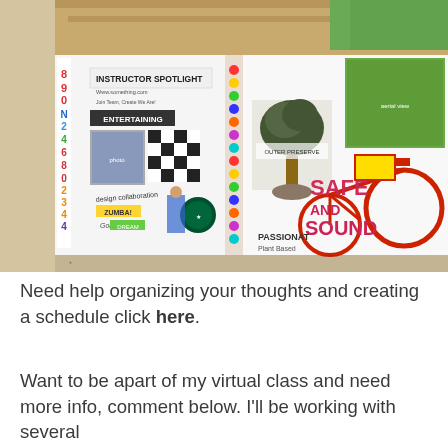[Figure (photo): A collage-style art journal or scrapbook displayed open on a wooden surface. The pages feature mixed media artwork including text snippets like 'INSTRUCTOR SPOTLIGHT', 'ENTERTAINING', 'SAFE AND SOUND', 'PASSIONATE', colorful numbers, a Starbucks logo, a red bicycle image, plant illustrations, and various magazine cutouts and patterns.]
Need help organizing your thoughts and creating a schedule click here.
Want to be apart of my virtual class and need more info, comment below. I'll be working with several